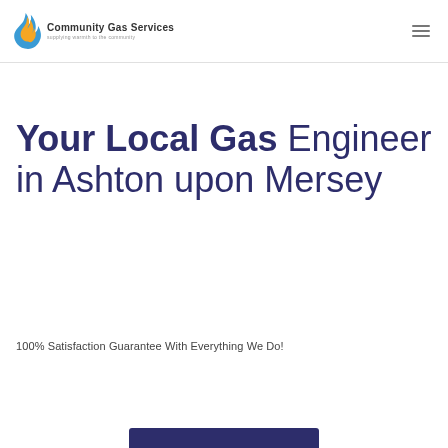[Figure (logo): Community Gas Services logo with flame icon and tagline 'supplying warmth to the community']
Your Local Gas Engineer in Ashton upon Mersey
100% Satisfaction Guarantee With Everything We Do!